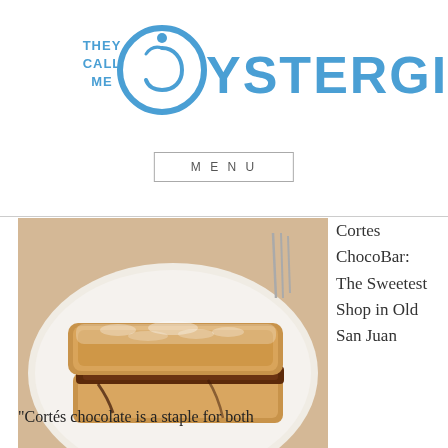[Figure (logo): They Call Me Oystergirl logo with blue text and a circular swirl graphic]
MENU
[Figure (photo): A chocolate French toast sandwich dusted with powdered sugar on a white plate]
Cortes ChocoBar: The Sweetest Shop in Old San Juan
“Cortés chocolate is a staple for both